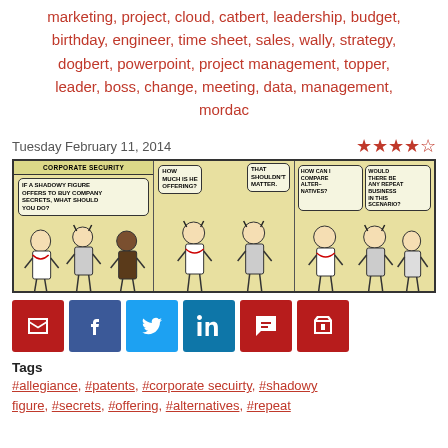marketing, project, cloud, catbert, leadership, budget, birthday, engineer, time sheet, sales, wally, strategy, dogbert, powerpoint, project management, topper, leader, boss, change, meeting, data, management, mordac
Tuesday February 11, 2014
[Figure (illustration): Dilbert comic strip with three panels about corporate security. Panel 1: header 'CORPORATE SECURITY' with text 'IF A SHADOWY FIGURE OFFERS TO BUY COMPANY SECRETS, WHAT SHOULD YOU DO?' Panel 2: 'HOW MUCH IS HE OFFERING?' 'THAT SHOULDN'T MATTER.' Panel 3: 'HOW CAN I COMPARE ALTERNATIVES?' 'WOULD THERE BE ANY REPEAT BUSINESS IN THIS SCENARIO?']
[Figure (infographic): Social sharing buttons: email (dark red), Facebook (blue), Twitter (blue), LinkedIn (cyan/blue), comment (dark red), shopping cart (dark red)]
Tags
#allegiance, #patents, #corporate secuirty, #shadowy figure, #secrets, #offering, #alternatives, #repeat